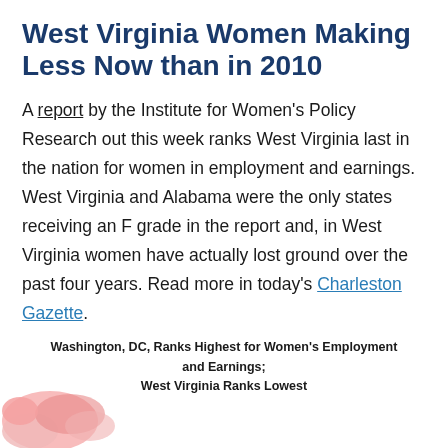West Virginia Women Making Less Now than in 2010
A report by the Institute for Women's Policy Research out this week ranks West Virginia last in the nation for women in employment and earnings. West Virginia and Alabama were the only states receiving an F grade in the report and, in West Virginia women have actually lost ground over the past four years. Read more in today's Charleston Gazette.
Washington, DC, Ranks Highest for Women's Employment and Earnings; West Virginia Ranks Lowest
[Figure (map): Partial map of the United States shown at the bottom left, with states shaded in pink/red tones indicating rankings for women's employment and earnings.]